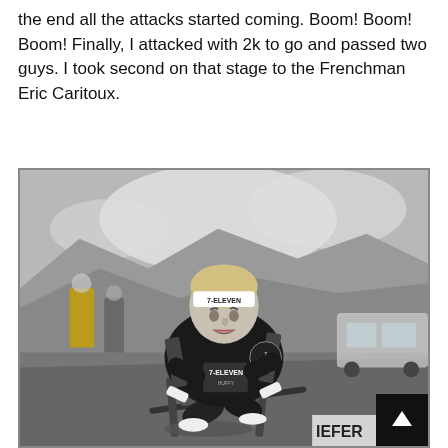the end all the attacks started coming. Boom! Boom! Boom! Finally, I attacked with 2k to go and passed two guys. I took second on that stage to the Frenchman Eric Caritoux.
[Figure (photo): Black and white photograph of a cyclist wearing a 7-Eleven team jersey and a white headband with '7-ELEVEN' written on it, riding a bicycle uphill. The cyclist appears to be competing in a race on a mountain stage. People and a car are visible in the background.]